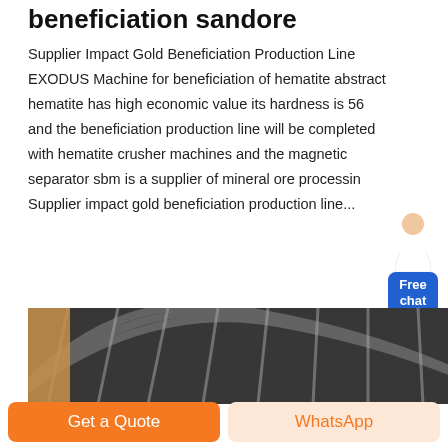beneficiation sandore
Supplier Impact Gold Beneficiation Production Line EXODUS Machine for beneficiation of hematite abstract hematite has high economic value its hardness is 56 and the beneficiation production line will be completed with hematite crusher machines and the magnetic separator sbm is a supplier of mineral ore processin Supplier impact gold beneficiation production line...
[Figure (photo): Interior architectural photo showing an arched metal roof/ceiling structure with a tan/orange wall visible on the left side]
[Figure (illustration): Customer service chat widget showing an avatar of a woman and a blue Free chat button]
Get a Quote
WhatsApp